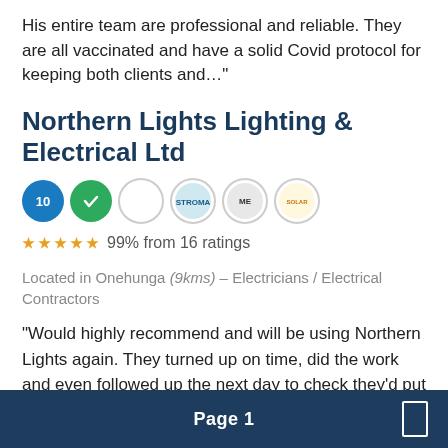His entire team are professional and reliable. They are all vaccinated and have a solid Covid protocol for keeping both clients and…"
Northern Lights Lighting & Electrical Ltd
[Figure (other): Five circular badge/certification icons for the company]
99% from 16 ratings
Located in Onehunga (9kms) – Electricians / Electrical Contractors
"Would highly recommend and will be using Northern Lights again. They turned up on time, did the work and even followed up the next day to check they'd put something back in its place."
Page 1